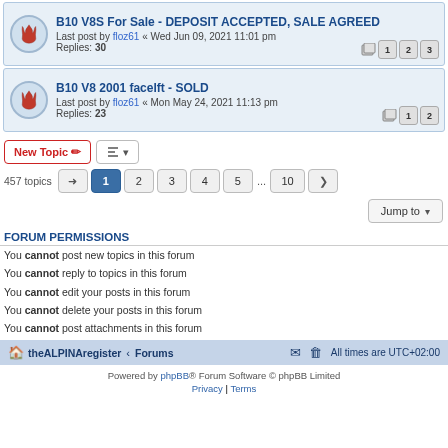B10 V8S For Sale - DEPOSIT ACCEPTED, SALE AGREED — Last post by floz61 « Wed Jun 09, 2021 11:01 pm — Replies: 30 — Pages: 1 2 3
B10 V8 2001 facelft - SOLD — Last post by floz61 « Mon May 24, 2021 11:13 pm — Replies: 23 — Pages: 1 2
New Topic | Sort | 457 topics | 1 2 3 4 5 ... 10 | Jump to
FORUM PERMISSIONS
You cannot post new topics in this forum
You cannot reply to topics in this forum
You cannot edit your posts in this forum
You cannot delete your posts in this forum
You cannot post attachments in this forum
theALPINAregister · Forums — All times are UTC+02:00
Powered by phpBB® Forum Software © phpBB Limited — Privacy | Terms